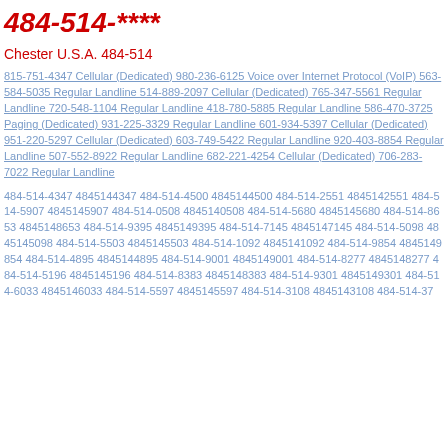484-514-****
Chester U.S.A. 484-514
815-751-4347 Cellular (Dedicated) 980-236-6125 Voice over Internet Protocol (VoIP) 563-584-5035 Regular Landline 514-889-2097 Cellular (Dedicated) 765-347-5561 Regular Landline 720-548-1104 Regular Landline 418-780-5885 Regular Landline 586-470-3725 Paging (Dedicated) 931-225-3329 Regular Landline 601-934-5397 Cellular (Dedicated) 951-220-5297 Cellular (Dedicated) 603-749-5422 Regular Landline 920-403-8854 Regular Landline 507-552-8922 Regular Landline 682-221-4254 Cellular (Dedicated) 706-283-7022 Regular Landline
484-514-4347 4845144347 484-514-4500 4845144500 484-514-2551 4845142551 484-514-5907 4845145907 484-514-0508 4845140508 484-514-5680 4845145680 484-514-8653 4845148653 484-514-9395 4845149395 484-514-7145 4845147145 484-514-5098 4845145098 484-514-5503 4845145503 484-514-1092 4845141092 484-514-9854 4845149854 484-514-4895 4845144895 484-514-9001 4845149001 484-514-8277 4845148277 484-514-5196 4845145196 484-514-8383 4845148383 484-514-9301 4845149301 484-514-6033 4845146033 484-514-5597 4845145597 484-514-3108 4845143108 484-514-37...